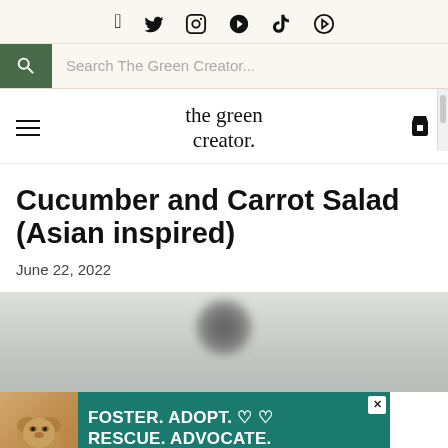Social icons: Facebook, Twitter, Instagram, Pinterest, YouTube, TikTok
Search The Green Creator...
the green creator.
Cucumber and Carrot Salad (Asian inspired)
June 22, 2022
[Figure (photo): Top portion of a bowl with food, blurred dark object visible at top center, light gray-green background]
[Figure (photo): Advertisement banner: dog photo on left, teal background with text FOSTER. ADOPT. RESCUE. ADVOCATE. with heart icons and close button]